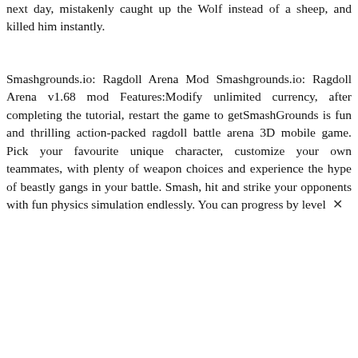next day, mistakenly caught up the Wolf instead of a sheep, and killed him instantly.
Smashgrounds.io: Ragdoll Arena Mod Smashgrounds.io: Ragdoll Arena v1.68 mod Features:Modify unlimited currency, after completing the tutorial, restart the game to getSmashGrounds is fun and thrilling action-packed ragdoll battle arena 3D mobile game. Pick your favourite unique character, customize your own teammates, with plenty of weapon choices and experience the hype of beastly gangs in your battle. Smash, hit and strike your opponents with fun physics simulation endlessly. You can progress by level ×